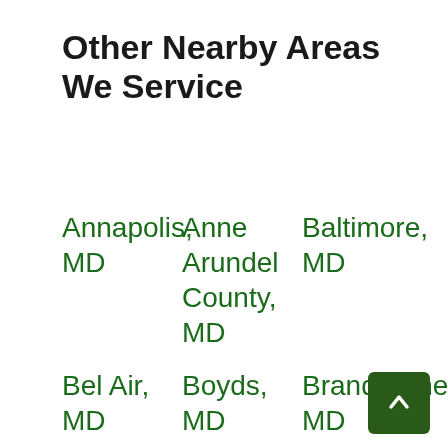Other Nearby Areas We Service
Annapolis, MD
Anne Arundel County, MD
Baltimore, MD
Bel Air, MD
Boyds, MD
Brandywine, MD
Cambridge, MD
Catonsville, MD
Columbia, MD